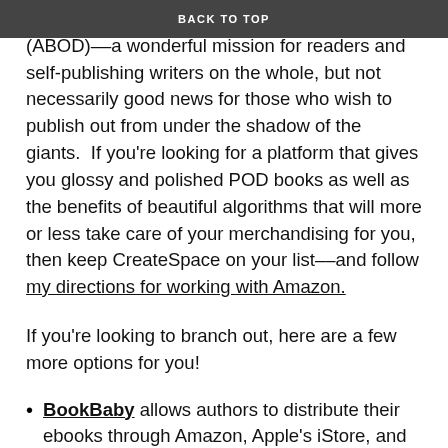BACK TO TOP
(POD) books as well as Audio on Demand (ABOD)––a wonderful mission for readers and self-publishing writers on the whole, but not necessarily good news for those who wish to publish out from under the shadow of the giants.  If you're looking for a platform that gives you glossy and polished POD books as well as the benefits of beautiful algorithms that will more or less take care of your merchandising for you, then keep CreateSpace on your list––and follow my directions for working with Amazon.
If you're looking to branch out, here are a few more options for you!
BookBaby allows authors to distribute their ebooks through Amazon, Apple's iStore, and elsewhere. This platform's nonstandard payment model makes it a great fit for those authors hoping for strong sales of their books: rather than subtract from royalties, its